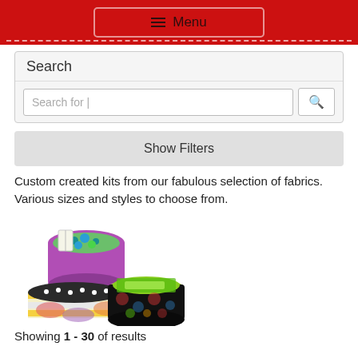≡ Menu
Search
Search for |
Show Filters
Custom created kits from our fabulous selection of fabrics. Various sizes and styles to choose from.
[Figure (photo): Three fabric storage baskets/boxes filled with sewing notions and fabric scraps, shown at an angle. Colorful floral and patterned fabrics.]
Showing 1 - 30 of results